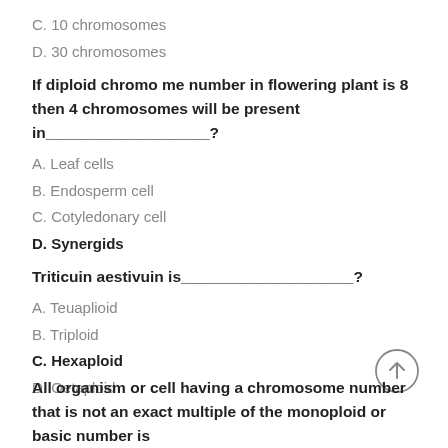C. 10 chromosomes
D. 30 chromosomes
If diploid chromo me number in flowering plant is 8 then 4 chromosomes will be present in___________________?
A. Leaf cells
B. Endosperm cell
C. Cotyledonary cell
D. Synergids
Triticuin aestivuin is____________________?
A. Teuaplioid
B. Triploid
C. Hexaploid
D. Oetaploid
All organism or cell having a chromosome number that is not an exact multiple of the monoploid or basic number is